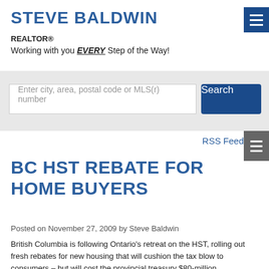STEVE BALDWIN REALTOR® Working with you EVERY Step of the Way!
Enter city, area, postal code or MLS(r) number
RSS Feed
BC HST REBATE FOR HOME BUYERS
Posted on November 27, 2009 by Steve Baldwin
British Columbia is following Ontario's retreat on the HST, rolling out fresh rebates for new housing that will cushion the tax blow to consumers – but will cost the provincial treasury $80-million. And another step in that retreat could be in the offing. This morning, Finance Minister Colin Hansen will meet with restaurant industry representatives who will push for an